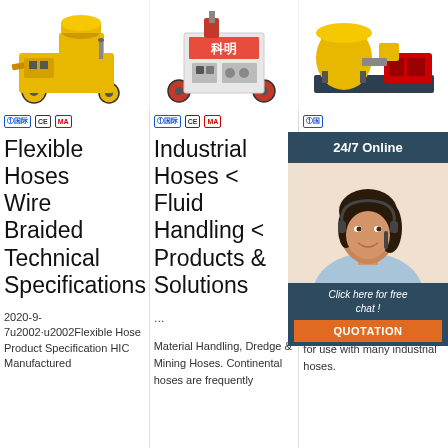[Figure (photo): Yellow concrete pump machine on wheels]
[Figure (photo): Orange/red industrial grout pump machine with Chinese text 科明]
[Figure (photo): Industrial mixing/pumping equipment on frame]
CE HA certification badges (column 1)
CE HA certification badges (column 2)
Flexible Hoses Wire Braided Technical Specifications
Industrial Hoses < Fluid Handling < Products & Solutions
Pr... JA... IN... Ho...
2020-9-7u2002·u2002Flexible Hose Product Specification HIC Manufactured
... Material Handling, Dredge & Mining Hoses. Continental hoses are frequently
Prime... com... steam applications. A variety of steel stems, couplings, spuds and wing nuts. Ideal for use with many industrial hoses.
[Figure (photo): Customer service representative with headset - 24/7 Online chat widget]
24/7 Online
Click here for free chat !
QUOTATION